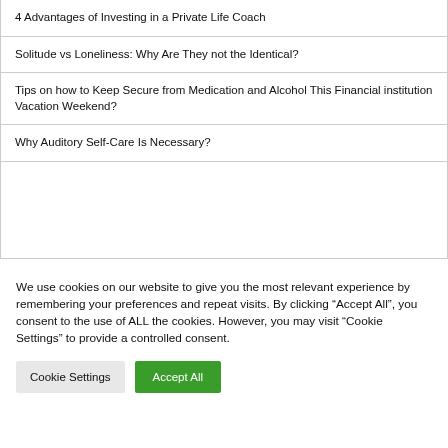4 Advantages of Investing in a Private Life Coach
Solitude vs Loneliness: Why Are They not the Identical?
Tips on how to Keep Secure from Medication and Alcohol This Financial institution Vacation Weekend?
Why Auditory Self-Care Is Necessary?
We use cookies on our website to give you the most relevant experience by remembering your preferences and repeat visits. By clicking “Accept All”, you consent to the use of ALL the cookies. However, you may visit "Cookie Settings" to provide a controlled consent.